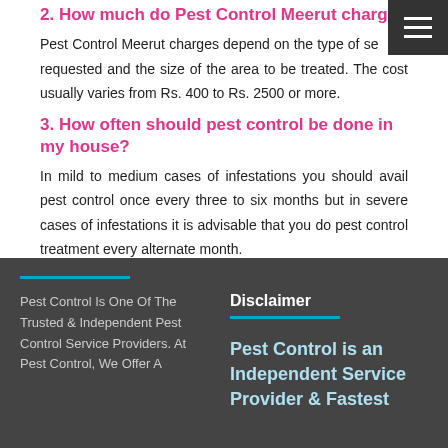2. How much do Pest Control Meerut charge?
Pest Control Meerut charges depend on the type of service requested and the size of the area to be treated. The cost usually varies from Rs. 400 to Rs. 2500 or more.
3. How often should pest control be done in my house?
In mild to medium cases of infestations you should avail pest control once every three to six months but in severe cases of infestations it is advisable that you do pest control treatment every alternate month.
Pest Control Is One Of The Trusted & Independent Pest Control Service Providers. At Pest Control, We Offer A
Disclaimer
Pest Control is an Independent Service Provider & Fastest